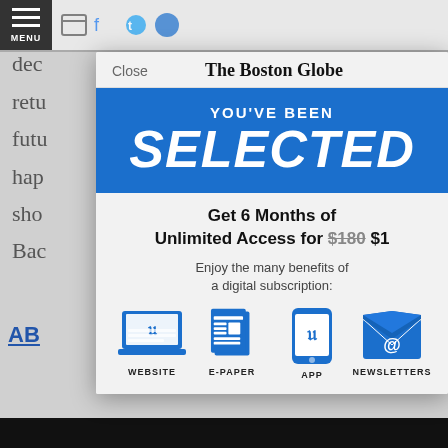The Boston Globe
Close
YOU'VE BEEN SELECTED
Get 6 Months of Unlimited Access for $180 $1
Enjoy the many benefits of a digital subscription:
[Figure (infographic): Four blue icons representing: WEBSITE (laptop with Boston Globe logo), E-PAPER (newspaper), APP (smartphone with Boston Globe logo), NEWSLETTERS (envelope with @ symbol)]